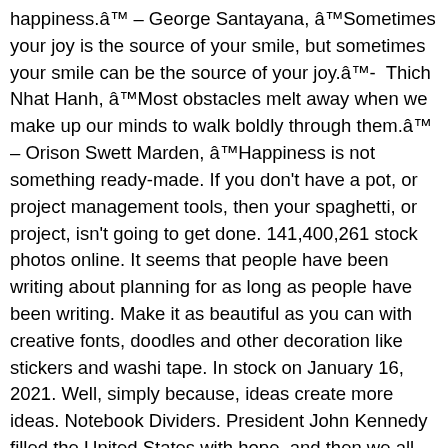happiness.â€™ – George Santayana, â€œSometimes your joy is the source of your smile, but sometimes your smile can be the source of your joy.â€-  Thich Nhat Hanh, â€œMost obstacles melt away when we make up our minds to walk boldly through them.â€ – Orison Swett Marden, â€œHappiness is not something ready-made. If you don't have a pot, or project management tools, then your spaghetti, or project, isn't going to get done. 141,400,261 stock photos online. It seems that people have been writing about planning for as long as people have been writing. Make it as beautiful as you can with creative fonts, doodles and other decoration like stickers and washi tape. In stock on January 16, 2021. Well, simply because, ideas create more ideas. Notebook Dividers. President John Kennedy filled the United States with hope, and then we all know what happened. In this new video, I am sharing how I used pieces from an old planner and the new DIY cover set from The Happy Planner to make my own, personalized cover! Each package includes: 3 sets of pre-punched, double-sided, designer covers